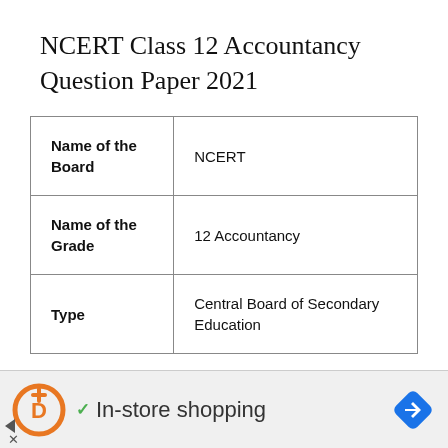NCERT Class 12 Accountancy Question Paper 2021
|  |  |
| --- | --- |
| Name of the Board | NCERT |
| Name of the Grade | 12 Accountancy |
| Type | Central Board of Secondary Education |
[Figure (other): Advertisement banner: orange D+ logo, green checkmark, 'In-store shopping' text, blue diamond arrow icon]